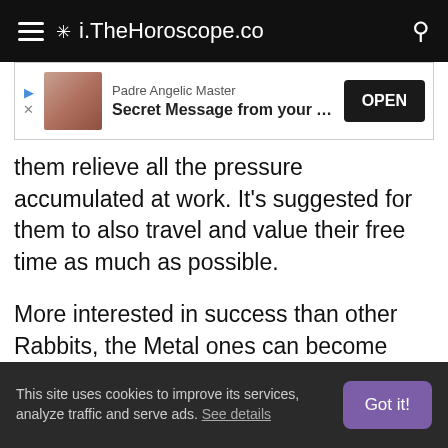i.TheHoroscope.co
[Figure (other): Advertisement banner: Padre Angelic Master – Secret Message from your Angel, with OPEN button]
them relieve all the pressure accumulated at work. It's suggested for them to also travel and value their free time as much as possible.
More interested in success than other Rabbits, the Metal ones can become very aggressive when working hard to advance in their career. They're very good working with the public, with the law or when campaigning for those who are running for office.
This site uses cookies to improve its services, analyze traffic and serve ads. See details  Got it!